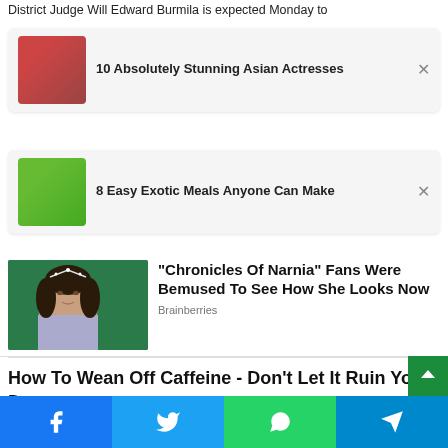District Judge Will Edward Burmila is expected Monday to
[Figure (screenshot): Ad card: 10 Absolutely Stunning Asian Actresses, with thumbnail of woman with dark hair]
[Figure (screenshot): Ad card: 8 Easy Exotic Meals Anyone Can Make, with thumbnail of wrap/burrito food]
"Chronicles Of Narnia" Fans Were Bemused To See How She Looks Now
Brainberries
How To Wean Off Caffeine - Don't Let It Ruin Your Day
[Figure (screenshot): Social share bar with Facebook, Twitter, WhatsApp, and Telegram buttons]